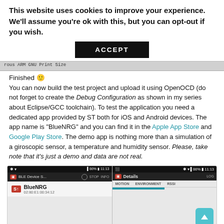This website uses cookies to improve your experience. We'll assume you're ok with this, but you can opt-out if you wish.
ACCEPT
[Figure (screenshot): Partial screenshot of a terminal/console showing ARM GNU toolchain text]
Finished 🙂
You can now build the test project and upload it using OpenOCD (do not forget to create the Debug Configuration as shown in my series about Eclipse/GCC toolchain). To test the application you need a dedicated app provided by ST both for iOS and Android devices. The app name is "BlueNRG" and you can find it in the Apple App Store and Google Play Store. The demo app is nothing more than a simulation of a giroscopic sensor, a temperature and humidity sensor. Please, take note that it's just a demo and data are not real.
[Figure (screenshot): Two Android phone screenshots side by side showing the BlueNRG app: left shows BLE Device Scanner with BlueNRG device listed, right shows Details screen with Motion, Environment, RSSI tabs]